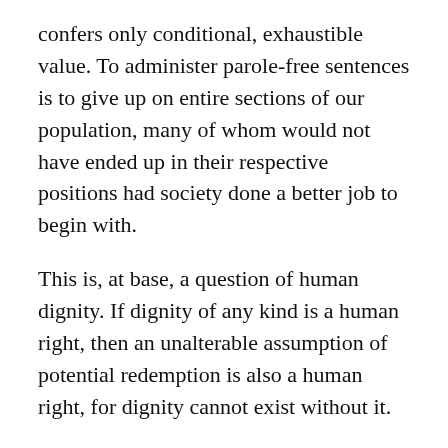confers only conditional, exhaustible value. To administer parole-free sentences is to give up on entire sections of our population, many of whom would not have ended up in their respective positions had society done a better job to begin with.
This is, at base, a question of human dignity. If dignity of any kind is a human right, then an unalterable assumption of potential redemption is also a human right, for dignity cannot exist without it.
So, what should be done instead? Granted that prison systems are appropriate punitive measures in the first place (and I am not sure that they are), convicts should always be given a range of years within their expected life-span during which they are at least eligible to be